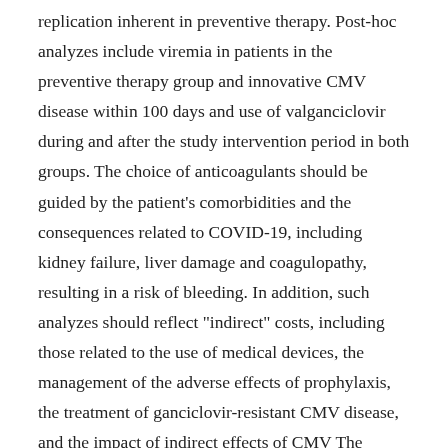replication inherent in preventive therapy. Post-hoc analyzes include viremia in patients in the preventive therapy group and innovative CMV disease within 100 days and use of valganciclovir during and after the study intervention period in both groups. The choice of anticoagulants should be guided by the patient's comorbidities and the consequences related to COVID-19, including kidney failure, liver damage and coagulopathy, resulting in a risk of bleeding. In addition, such analyzes should reflect "indirect" costs, including those related to the use of medical devices, the management of the adverse effects of prophylaxis, the treatment of ganciclovir-resistant CMV disease, and the impact of indirect effects of CMV The conceptual principles that form the basis of preventive therapy are that it is aimed at high-risk patients, that it is time to be the most effective in breaking an impending disease and that it is administered for a defined duration, generally short. However,